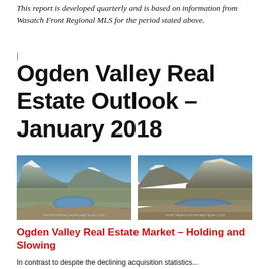This report is developed quarterly and is based on information from Wasatch Front Regional MLS for the period stated above.
Ogden Valley Real Estate Outlook – January 2018
[Figure (photo): Aerial photograph of Ogden Valley showing mountains, lake, and valley with snow-capped peaks and blue sky. Watermark: ©NorthernUtahHomeTeam.com]
[Figure (photo): Aerial photograph of Ogden Valley showing mountains and reservoir from a different angle with brown terrain. Watermark: NorthernUtahHomeTeam.com]
Ogden Valley Real Estate Market – Holding and Slowing
In contrast to despite the declining acquisition statistics...